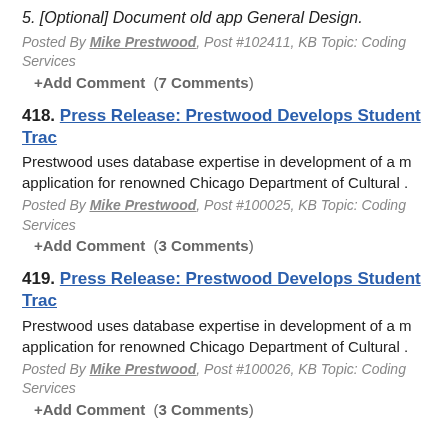5. [Optional] Document old app General Design.
Posted By Mike Prestwood, Post #102411, KB Topic: Coding Services
+Add Comment  (7 Comments)
418. Press Release: Prestwood Develops Student Trac...
Prestwood uses database expertise in development of a new application for renowned Chicago Department of Cultural ...
Posted By Mike Prestwood, Post #100025, KB Topic: Coding Services
+Add Comment  (3 Comments)
419. Press Release: Prestwood Develops Student Trac...
Prestwood uses database expertise in development of a new application for renowned Chicago Department of Cultural ...
Posted By Mike Prestwood, Post #100026, KB Topic: Coding Services
+Add Comment  (3 Comments)
Topic: New Client Area
420. Smaller Is Sometimes Better!